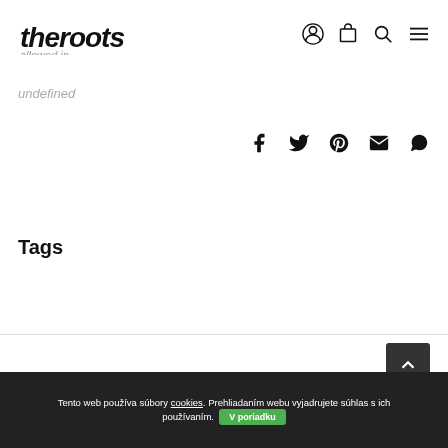theroots allowed in.
undefined
[Figure (other): Social share icons: Facebook, Twitter, Pinterest, Email, WhatsApp]
Tags
[Figure (logo): theroots logo in footer area]
[Figure (other): Scroll to top button with upward chevron arrow]
Tento web používa súbory cookies. Prehliadaním webu vyjadrujete súhlas s ich používaním. V poriadku